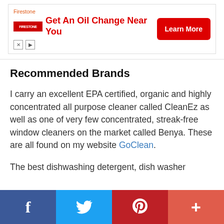[Figure (other): Firestone advertisement banner: 'Get An Oil Change Near You' with red Learn More button and Firestone logo, with close/play controls]
Recommended Brands
I carry an excellent EPA certified, organic and highly concentrated all purpose cleaner called CleanEz as well as one of very few concentrated, streak-free window cleaners on the market called Benya. These are all found on my website GoClean.
The best dishwashing detergent, dish washer
[Figure (other): Social sharing bar with Facebook, Twitter, Pinterest, and plus/share buttons]